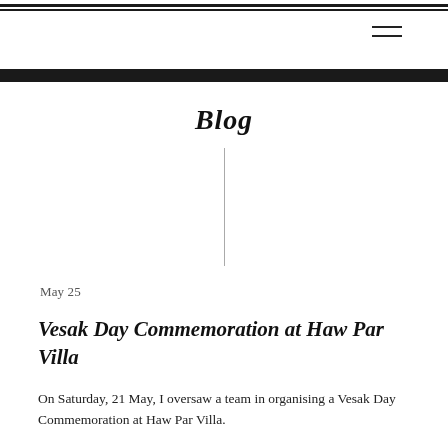Blog
May 25
Vesak Day Commemoration at Haw Par Villa
On Saturday, 21 May, I oversaw a team in organising a Vesak Day Commemoration at Haw Par Villa.
I believe this was the first Vesak Day event held in the 85-year-old park in years.
The commemoration started with Vesak Day blessings conducted in the Culture Courtyard.